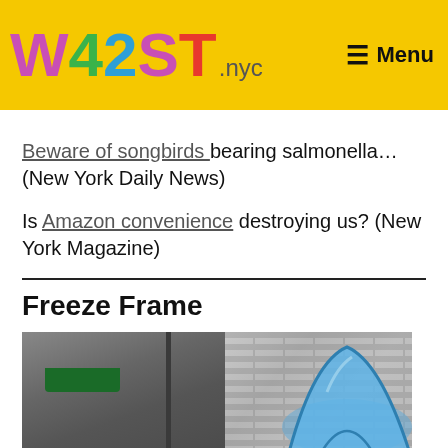W42ST.nyc — Menu
Beware of songbirds bearing salmonella… (New York Daily News)
Is Amazon convenience destroying us? (New York Magazine)
Freeze Frame
[Figure (photo): Street scene photo showing a blue dome tent on a city sidewalk next to a brick wall, with street signs and a green storefront awning visible in the background.]